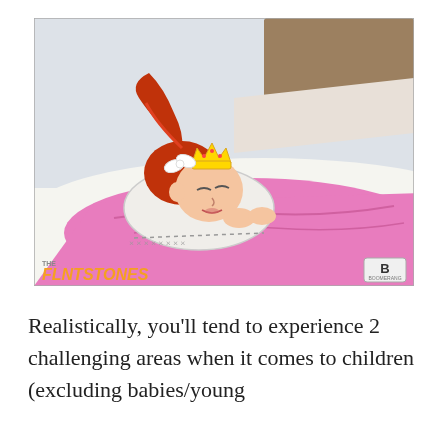[Figure (illustration): A cartoon still from The Flintstones (Boomerang channel) showing a young red-haired girl character sleeping in bed, wearing a gold crown, resting on a white pillow with a pink blanket, with a brown headboard visible in the upper right corner.]
Realistically, you'll tend to experience 2 challenging areas when it comes to children (excluding babies/young